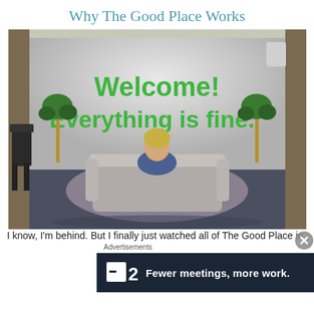Why The Good Place Works
[Figure (photo): Scene from The Good Place: a person sitting on a white sofa facing a wall with green text reading 'Welcome! Everything is fine.' in a room with blue carpet and flanking plant stands.]
I know, I'm behind. But I finally just watched all of The Good Place in
Advertisements
[Figure (screenshot): Advertisement banner for Planview with dark navy background, Planview logo (white square with minus icon and '2'), and text: 'Fewer meetings, more work.']